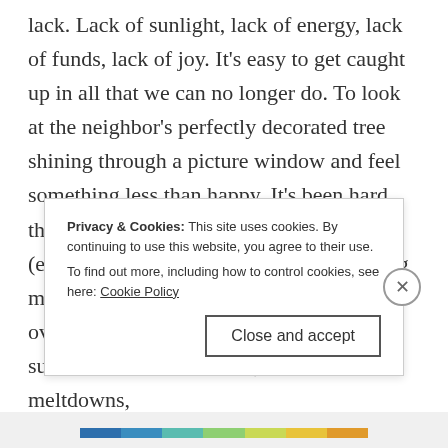lack. Lack of sunlight, lack of energy, lack of funds, lack of joy. It's easy to get caught up in all that we can no longer do. To look at the neighbor's perfectly decorated tree shining through a picture window and feel something less than happy. It's been hard this year. I'm in serious spoon deficit (exhaustion) from weeks of over-extending myself with the move. I'm easily overwhelmed by the glitz and hubbub that surrounds the season. But, with a few meltdowns,
Privacy & Cookies: This site uses cookies. By continuing to use this website, you agree to their use.
To find out more, including how to control cookies, see here: Cookie Policy